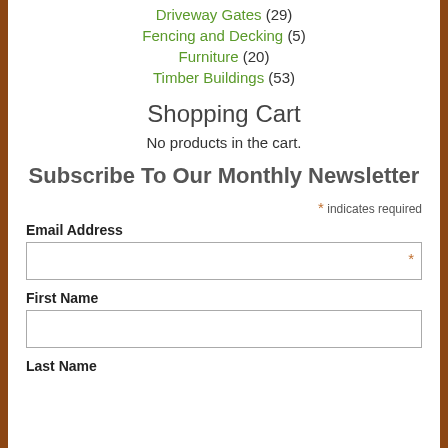Driveway Gates (29)
Fencing and Decking (5)
Furniture (20)
Timber Buildings (53)
Shopping Cart
No products in the cart.
Subscribe To Our Monthly Newsletter
* indicates required
Email Address
First Name
Last Name